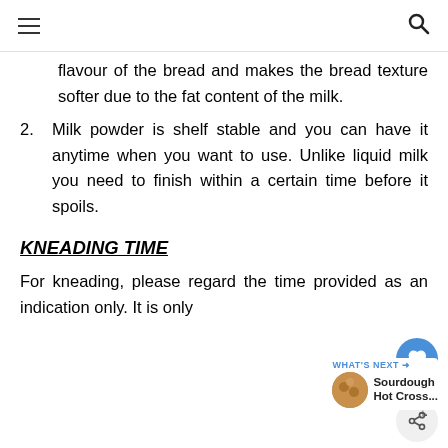≡  🔍
flavour of the bread and makes the bread texture softer due to the fat content of the milk.
2. Milk powder is shelf stable and you can have it anytime when you want to use. Unlike liquid milk you need to finish within a certain time before it spoils.
KNEADING TIME
For kneading, please regard the time provided as an indication only. It is only